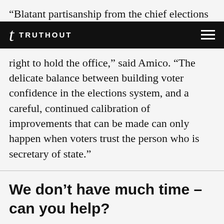“Blatant partisanship from the chief elections
t TRUTHOUT
right to hold the office,” said Amico. “The delicate balance between building voter confidence in the elections system, and a careful, continued calibration of improvements that can be made can only happen when voters trust the person who is secretary of state.”
We don’t have much time – can you help?